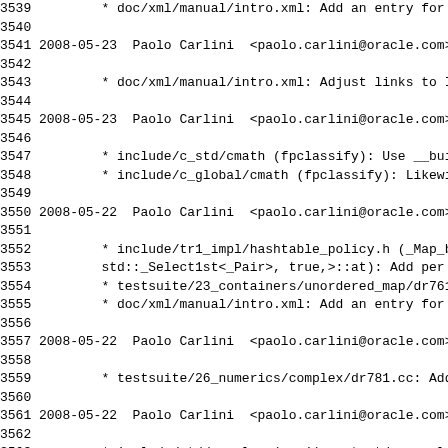Changelog / commit log entries for GCC libstdc++ from lines 3539 to 3570, showing dated entries by Paolo Carlini with file change descriptions.